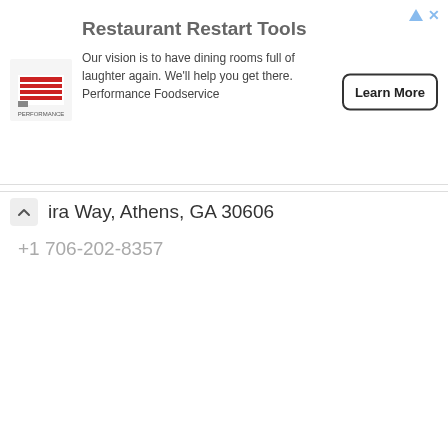[Figure (screenshot): Advertisement banner for Performance Foodservice Restaurant Restart Tools with logo, text, and Learn More button]
ira Way, Athens, GA 30606
+1 706-202-8357
[Figure (other): Pagination controls with circles labeled 1 (filled orange), 2, 3, and a next arrow button]